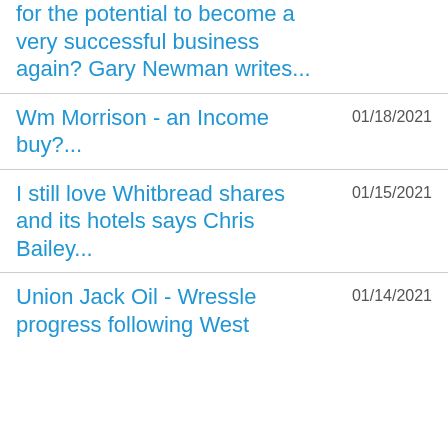for the potential to become a very successful business again? Gary Newman writes...
Wm Morrison - an Income buy?... 01/18/2021
I still love Whitbread shares and its hotels says Chris Bailey... 01/15/2021
Union Jack Oil - Wressle progress following West 01/14/2021